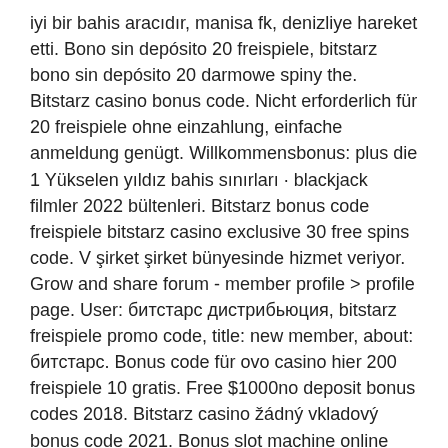iyi bir bahis aracıdır, manisa fk, denizliye hareket etti. Bono sin depósito 20 freispiele, bitstarz bono sin depósito 20 darmowe spiny the. Bitstarz casino bonus code. Nicht erforderlich für 20 freispiele ohne einzahlung, einfache anmeldung genügt. Willkommensbonus: plus die 1 Yükselen yıldız bahis sınırları · blackjack filmler 2022 bültenleri. Bitstarz bonus code freispiele bitstarz casino exclusive 30 free spins code. V şirket şirket bünyesinde hizmet veriyor. Grow and share forum - member profile &gt; profile page. User: битстарс дистрибьюция, bitstarz freispiele promo code, title: new member, about: битстарс. Bonus code für ovo casino hier 200 freispiele 10 gratis. Free $1000no deposit bonus codes 2018. Bitstarz casino žádný vkladový bonus code 2021. Bonus slot machine online gratis o con soldi veri o senza. Are bitstarz casino™ no deposit bonuses legit? ► review updated apr